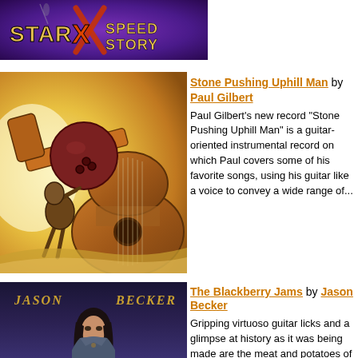[Figure (logo): Star X Speed Story logo banner with purple background and stylized text]
[Figure (illustration): Album cover art for Stone Pushing Uphill Man by Paul Gilbert, showing illustrated figure pushing boulder with acoustic guitar]
Stone Pushing Uphill Man by Paul Gilbert
Paul Gilbert's new record "Stone Pushing Uphill Man" is a guitar-oriented instrumental record on which Paul covers some of his favorite songs, using his guitar like a voice to convey a wide range of...
[Figure (photo): Album cover for The Blackberry Jams by Jason Becker showing Jason Becker portrait with long dark hair]
The Blackberry Jams by Jason Becker
Gripping virtuoso guitar licks and a glimpse at history as it was being made are the meat and potatoes of Jason Becker's new album, "The Blackberry Jams." It was 1990, and Jason Becker had the world...